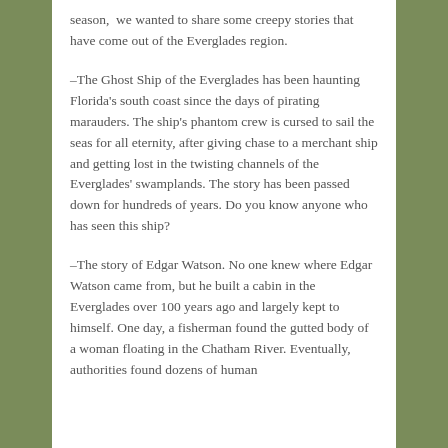season,  we wanted to share some creepy stories that have come out of the Everglades region.
–The Ghost Ship of the Everglades has been haunting Florida's south coast since the days of pirating marauders. The ship's phantom crew is cursed to sail the seas for all eternity, after giving chase to a merchant ship and getting lost in the twisting channels of the Everglades' swamplands. The story has been passed down for hundreds of years. Do you know anyone who has seen this ship?
–The story of Edgar Watson. No one knew where Edgar Watson came from, but he built a cabin in the Everglades over 100 years ago and largely kept to himself. One day, a fisherman found the gutted body of a woman floating in the Chatham River. Eventually, authorities found dozens of human